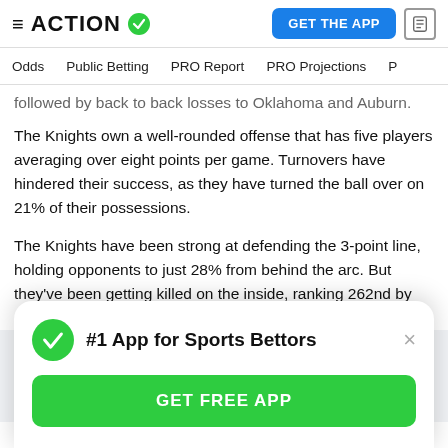ACTION [checkmark] | GET THE APP [doc icon]
Odds  Public Betting  PRO Report  PRO Projections  P
followed by back to back losses to Oklahoma and Auburn.
The Knights own a well-rounded offense that has five players averaging over eight points per game. Turnovers have hindered their success, as they have turned the ball over on 21% of their possessions.
The Knights have been strong at defending the 3-point line, holding opponents to just 28% from behind the arc. But they've been getting killed on the inside, ranking 262nd by allowing opponents to hit 52% on 2-point attempts.
[Figure (infographic): Modal popup: green checkmark icon, bold text '#1 App for Sports Bettors', X close button, and green 'GET FREE APP' button]
that can upset some of the top teams. But doing it on a